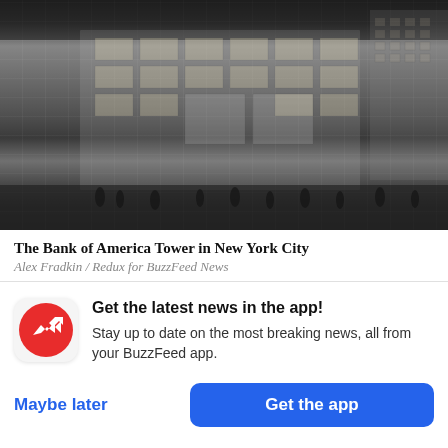[Figure (photo): Black and white photograph of the Bank of America Tower in New York City at night, showing the glass facade of a large modern skyscraper with crowds of people on the street below.]
The Bank of America Tower in New York City
Alex Fradkin / Redux for BuzzFeed News
Get the latest news in the app! Stay up to date on the most breaking news, all from your BuzzFeed app.
Maybe later
Get the app